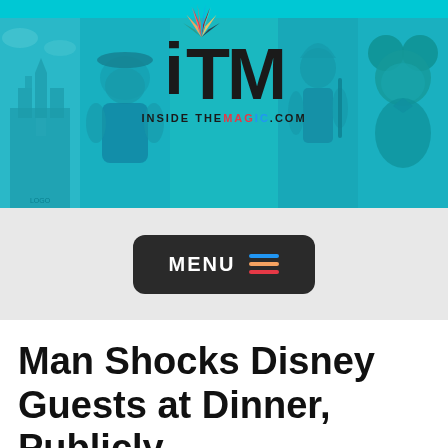InsideTheMagic.com - ITM logo banner with MENU navigation
[Figure (logo): InsideTheMagic (ITM) website header banner with colorful logo on teal/cyan background, flanked by tinted images of Disney castle, Mario, Link/fantasy character, and Mickey Mouse. Below: dark rounded MENU button with hamburger icon lines in blue, yellow, and red/orange.]
Man Shocks Disney Guests at Dinner, Publicly Announces Wife Cheated For 15 Years